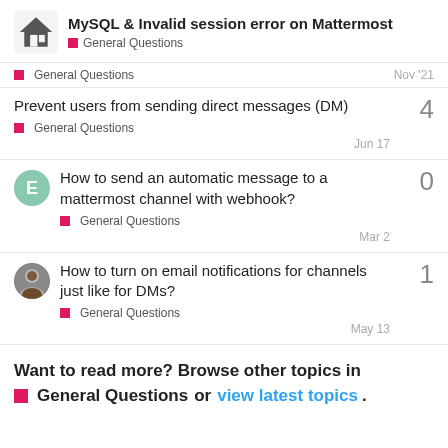MySQL & Invalid session error on Mattermost — General Questions
General Questions — Nov '21
Prevent users from sending direct messages (DM) — General Questions — Jun 17 — replies: 4
How to send an automatic message to a mattermost channel with webhook? — General Questions — Mar 2 — replies: 0
How to turn on email notifications for channels just like for DMs? — General Questions — May 13 — replies: 1
Want to read more? Browse other topics in General Questions or view latest topics.